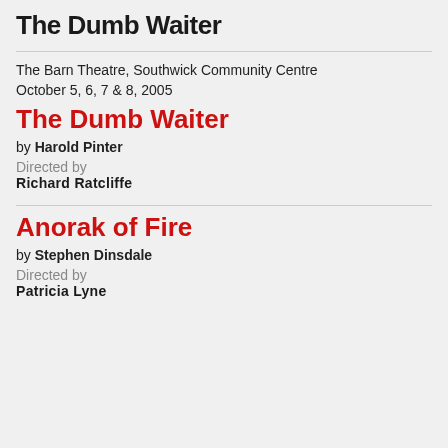The Dumb Waiter
The Barn Theatre, Southwick Community Centre
October 5, 6, 7 & 8, 2005
The Dumb Waiter
by Harold Pinter
Directed by
Richard Ratcliffe
Anorak of Fire
by Stephen Dinsdale
Directed by
Patricia Lyne